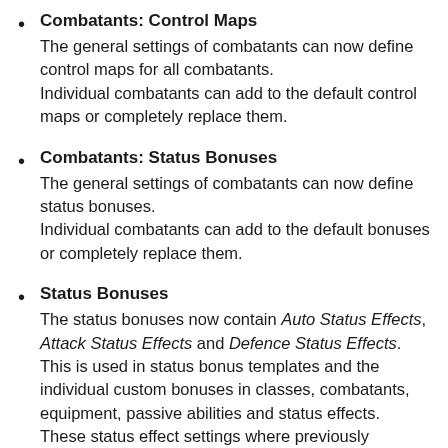Combatants: Control Maps
The general settings of combatants can now define control maps for all combatants.
Individual combatants can add to the default control maps or completely replace them.
Combatants: Status Bonuses
The general settings of combatants can now define status bonuses.
Individual combatants can add to the default bonuses or completely replace them.
Status Bonuses
The status bonuses now contain Auto Status Effects, Attack Status Effects and Defence Status Effects. This is used in status bonus templates and the individual custom bonuses in classes, combatants, equipment, passive abilities and status effects. These status effect settings where previously separate in those setups (classes, combatants, etc.) – due to the change you'll have to redo the setup. This change allows to create templates for